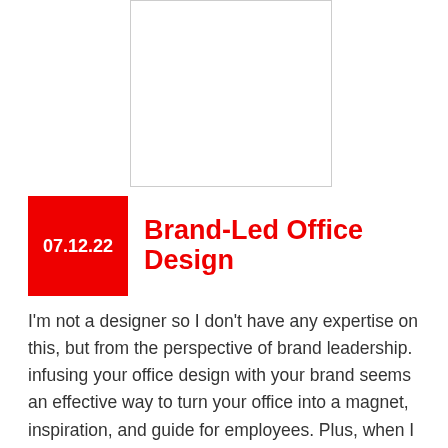[Figure (photo): Blank white image placeholder with border]
07.12.22  Brand-Led Office Design
I'm not a designer so I don't have any expertise on this, but from the perspective of brand leadership. infusing your office design with your brand seems an effective way to turn your office into a magnet, inspiration, and guide for employees. Plus, when I reached out to my go-to